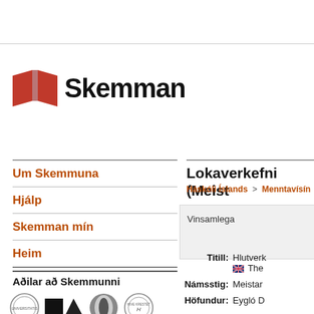[Figure (logo): Skemman logo with two red book shapes and bold text 'Skemman']
Um Skemmuna
Hjálp
Skemman mín
Heim
Aðilar að Skemmunni
[Figure (logo): Row of institutional logos including university seals and abstract shapes]
Lokaverkefni (Meist
Háskóli Íslands > Menntavísín
Vinsamlega
Titill: Hlutverk
The
Námsstig: Meistar
Höfundur: Eygló D